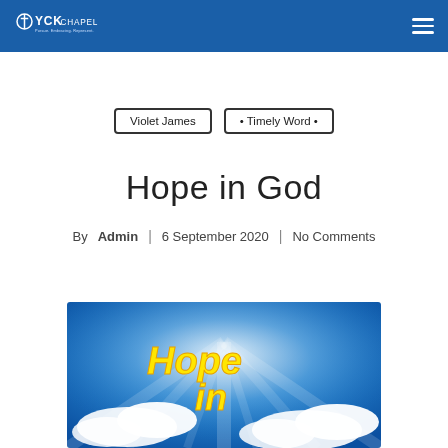YCK Chapel
Violet James | • Timely Word •
Hope in God
By Admin | 6 September 2020 | No Comments
[Figure (photo): Blue sky with light rays and yellow stylized text reading 'Hope in' with clouds below]